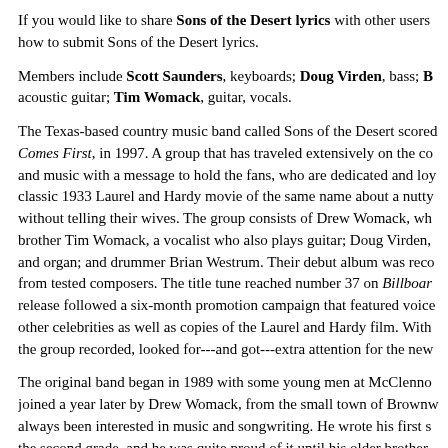If you would like to share Sons of the Desert lyrics with other users how to submit Sons of the Desert lyrics.
Members include Scott Saunders, keyboards; Doug Virden, bass; B acoustic guitar; Tim Womack, guitar, vocals.
The Texas-based country music band called Sons of the Desert scored Comes First, in 1997. A group that has traveled extensively on the co and music with a message to hold the fans, who are dedicated and loy classic 1933 Laurel and Hardy movie of the same name about a nutty without telling their wives. The group consists of Drew Womack, wh brother Tim Womack, a vocalist who also plays guitar; Doug Virden, and organ; and drummer Brian Westrum. Their debut album was reco from tested composers. The title tune reached number 37 on Billboard release followed a six-month promotion campaign that featured voice other celebrities as well as copies of the Laurel and Hardy film. With the group recorded, looked for---and got---extra attention for the new
The original band began in 1989 with some young men at McClenno joined a year later by Drew Womack, from the small town of Brownw always been interested in music and songwriting. He wrote his first s the second grade, and he was quite proud of it until his older brother trouble with their parents for writing it. So he hid the lyrics behind th
The singing group changed again in 1993 with the addition of Saund